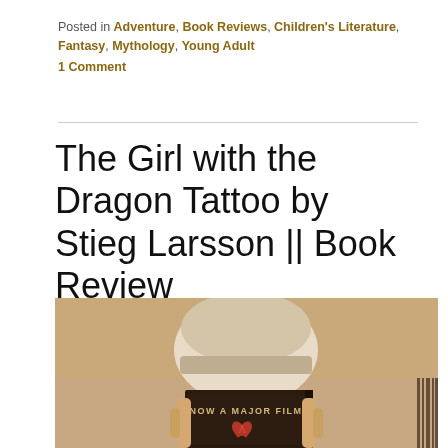Posted in Adventure, Book Reviews, Children's Literature, Fantasy, Mythology, Young Adult
1 Comment
The Girl with the Dragon Tattoo by Stieg Larsson || Book Review
[Figure (photo): Sepia-toned photo of a person holding a book with cover showing 'NOW A MAJOR FILM' text and a dragon logo, top of person's head visible above the book]